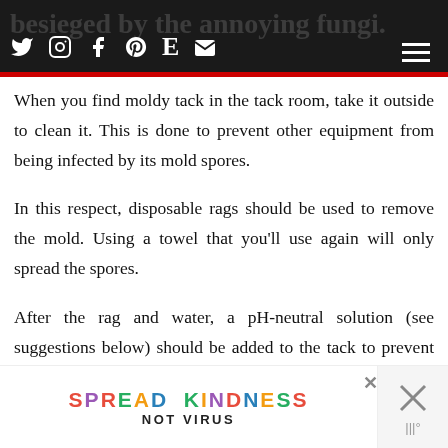besieged by the annoying fungi. [social icons: Twitter, Instagram, Facebook, Pinterest, Etsy, Email] [hamburger menu]
When you find moldy tack in the tack room, take it outside to clean it. This is done to prevent other equipment from being infected by its mold spores.
In this respect, disposable rags should be used to remove the mold. Using a towel that you'll use again will only spread the spores.
After the rag and water, a pH-neutral solution (see suggestions below) should be added to the tack to prevent new mold from accumulating. On... the...
[Figure (other): Advertisement banner: 'SPREAD KINDNESS NOT VIRUS' with colorful letters and a close button with X]